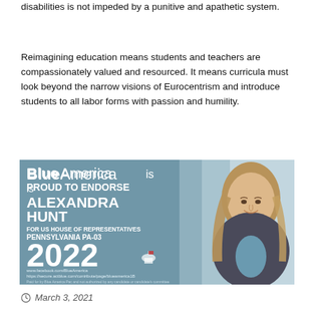disabilities is not impeded by a punitive and apathetic system.
Reimagining education means students and teachers are compassionately valued and resourced. It means curricula must look beyond the narrow visions of Eurocentrism and introduce students to all labor forms with passion and humility.
[Figure (infographic): Blue America endorsement banner for Alexandra Hunt for US House of Representatives Pennsylvania PA-03 2022, featuring a photo of the candidate on the right side and endorsement text on a teal/blue background on the left.]
March 3, 2021